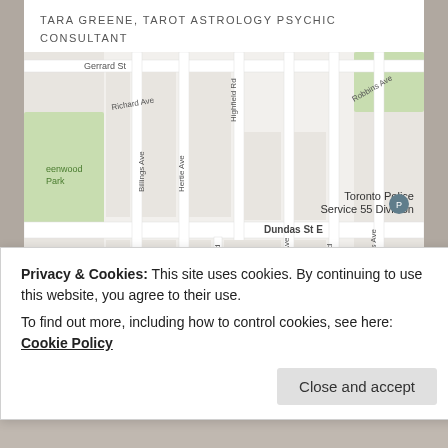TARA GREENE, TAROT ASTROLOGY PSYCHIC CONSULTANT
[Figure (map): Google Maps screenshot showing 1792 Dundas Street East area in Toronto, with landmarks including Toronto Police Service 55 Division, Yoga Mamas, McDonald's, and nearby streets like Gerrard St, Dundas St E, Kerr Rd.]
1792 Dundas Street East, Toronto Ontario M4L 1M3
4162305347
Privacy & Cookies: This site uses cookies. By continuing to use this website, you agree to their use.
To find out more, including how to control cookies, see here: Cookie Policy
Close and accept